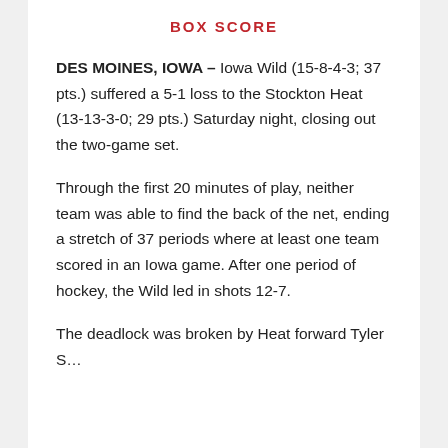BOX SCORE
DES MOINES, IOWA – Iowa Wild (15-8-4-3; 37 pts.) suffered a 5-1 loss to the Stockton Heat (13-13-3-0; 29 pts.) Saturday night, closing out the two-game set.
Through the first 20 minutes of play, neither team was able to find the back of the net, ending a stretch of 37 periods where at least one team scored in an Iowa game. After one period of hockey, the Wild led in shots 12-7.
The deadlock was broken by Heat forward Tyler S...